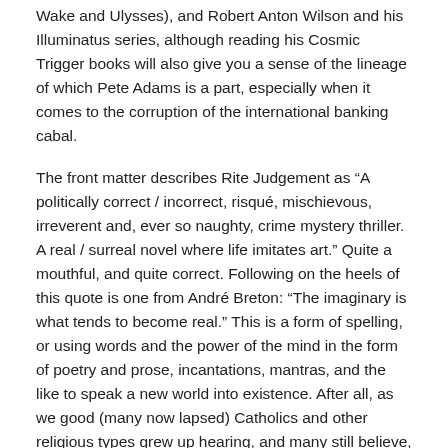Wake and Ulysses), and Robert Anton Wilson and his Illuminatus series, although reading his Cosmic Trigger books will also give you a sense of the lineage of which Pete Adams is a part, especially when it comes to the corruption of the international banking cabal.
The front matter describes Rite Judgement as “A politically correct / incorrect, risqué, mischievous, irreverent and, ever so naughty, crime mystery thriller. A real / surreal novel where life imitates art.” Quite a mouthful, and quite correct. Following on the heels of this quote is one from André Breton: “The imaginary is what tends to become real.” This is a form of spelling, or using words and the power of the mind in the form of poetry and prose, incantations, mantras, and the like to speak a new world into existence. After all, as we good (many now lapsed) Catholics and other religious types grew up hearing, and many still believe, in the beginning was the Logos… the Word. Which makes Trickster-Holy Storytellers like Adams invaluable to society indeed.
Still with me? I warn you, even more so than the book I